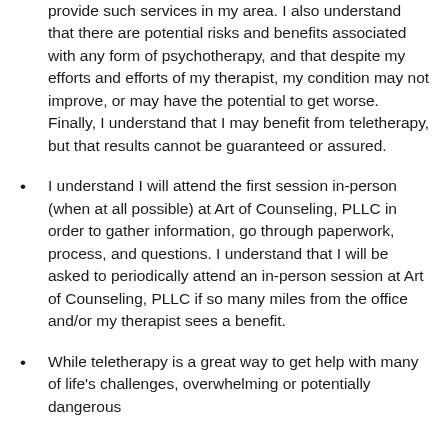provide such services in my area. I also understand that there are potential risks and benefits associated with any form of psychotherapy, and that despite my efforts and efforts of my therapist, my condition may not improve, or may have the potential to get worse. Finally, I understand that I may benefit from teletherapy, but that results cannot be guaranteed or assured.
I understand I will attend the first session in-person (when at all possible) at Art of Counseling, PLLC in order to gather information, go through paperwork, process, and questions. I understand that I will be asked to periodically attend an in-person session at Art of Counseling, PLLC if so many miles from the office and/or my therapist sees a benefit.
While teletherapy is a great way to get help with many of life's challenges, overwhelming or potentially dangerous...